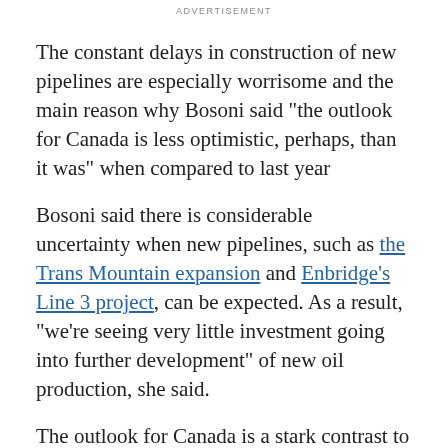ADVERTISEMENT
The constant delays in construction of new pipelines are especially worrisome and the main reason why Bosoni said "the outlook for Canada is less optimistic, perhaps, than it was" when compared to last year
Bosoni said there is considerable uncertainty when new pipelines, such as the Trans Mountain expansion and Enbridge's Line 3 project, can be expected. As a result,  "we're seeing very little investment going into further development" of new oil production, she said.
The outlook for Canada is a stark contrast to the situation south of the border, where tax cuts, relaxed regulations and new technology have promoted growth. Oil production growth continues to surge in